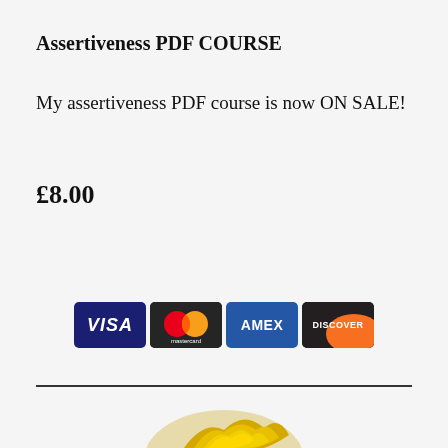Assertiveness PDF COURSE
My assertiveness PDF course is now ON SALE!
£8.00
[Figure (other): PayPal payment button with grey background showing 'Pay with PayPal' text and credit card logos (VISA, Mastercard, AMEX, DISCOVER)]
[Figure (photo): Partial image of golden award trophies at the bottom of the page]